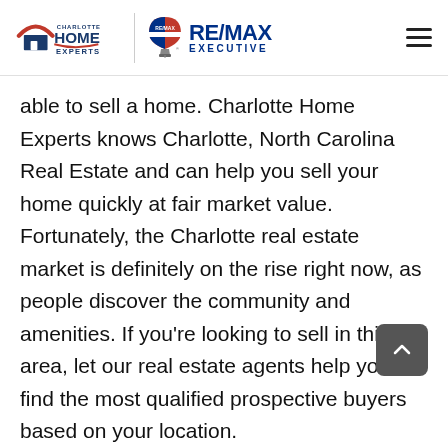Charlotte Home Experts | RE/MAX EXECUTIVE
able to sell a home. Charlotte Home Experts knows Charlotte, North Carolina Real Estate and can help you sell your home quickly at fair market value. Fortunately, the Charlotte real estate market is definitely on the rise right now, as people discover the community and amenities. If you’re looking to sell in this area, let our real estate agents help you find the most qualified prospective buyers based on your location.
If you are a homebuyer, my foremost goal is to